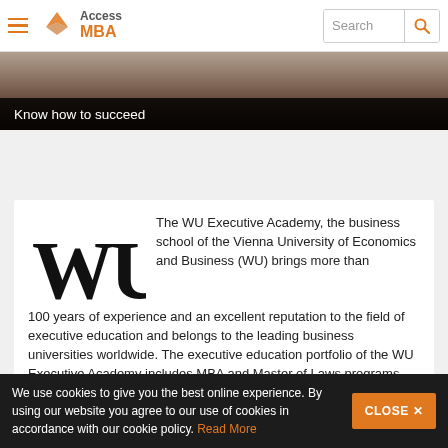Access MBA — Search
[Figure (photo): Hero image of a modern building/office interior, partially visible]
Know how to succeed
[Figure (logo): WU logo — stylized black WU letters]
The WU Executive Academy, the business school of the Vienna University of Economics and Business (WU) brings more than 100 years of experience and an excellent reputation to the field of executive education and belongs to the leading business universities worldwide. The executive education portfolio of the WU Executive Academy includes MBA and Master of Laws programs, university certificate programs,
We use cookies to give you the best online experience. By using our website you agree to our use of cookies in accordance with our cookie policy. Read More